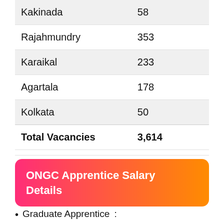|  |  |
| --- | --- |
| Kakinada | 58 |
| Rajahmundry | 353 |
| Karaikal | 233 |
| Agartala | 178 |
| Kolkata | 50 |
| Total Vacancies | 3,614 |
ONGC Apprentice Salary Details
Graduate Apprentice : Rs.9,000